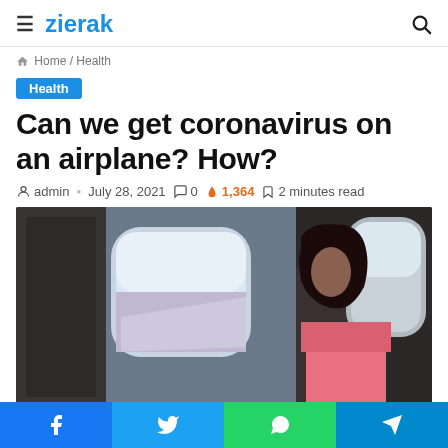≡ zierak 🔍
Home / Health
Health
Can we get coronavirus on an airplane? How?
admin · July 28, 2021  0  1,364  2 minutes read
[Figure (photo): Interior of airplane cabin showing window seats, a passenger with dark hair looking out the window, with pink clothing visible]
Facebook Twitter WhatsApp Telegram social share buttons